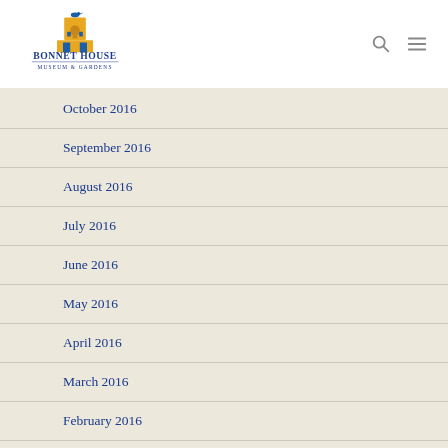[Figure (logo): Bonnet House Museum & Gardens logo with yellow building and blue text]
October 2016
September 2016
August 2016
July 2016
June 2016
May 2016
April 2016
March 2016
February 2016